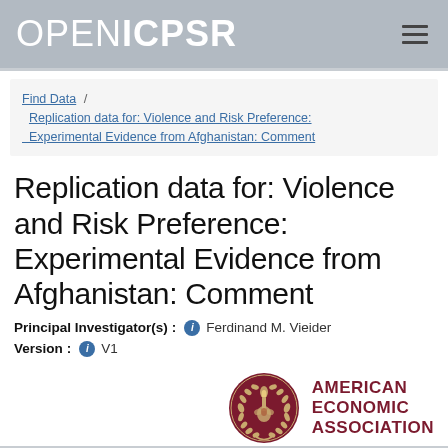OPEN ICPSR
Find Data / Replication data for: Violence and Risk Preference: Experimental Evidence from Afghanistan: Comment
Replication data for: Violence and Risk Preference: Experimental Evidence from Afghanistan: Comment
Principal Investigator(s): Ferdinand M. Vieider
Version: V1
[Figure (logo): American Economic Association seal logo in dark red/maroon, circular emblem with torch and wreath, next to bold text reading AMERICAN ECONOMIC ASSOCIATION]